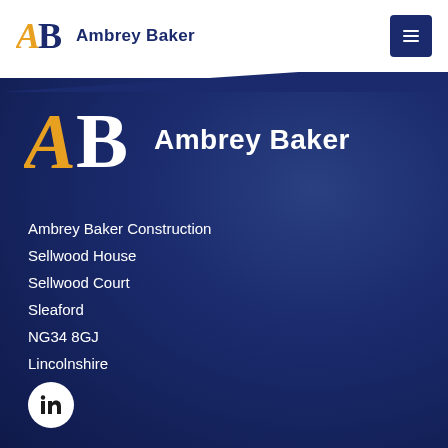[Figure (logo): Ambrey Baker logo with orange A and white B letters, followed by 'Ambrey Baker' text in dark navy blue in the top header bar]
[Figure (logo): Ambrey Baker large logo on dark blue background - orange A and white B with 'Ambrey Baker' in bold white text]
Ambrey Baker Construction
Sellwood House
Sellwood Court
Sleaford
NG34 8GJ
Lincolnshire
[Figure (logo): LinkedIn icon in a white circle at the bottom left]